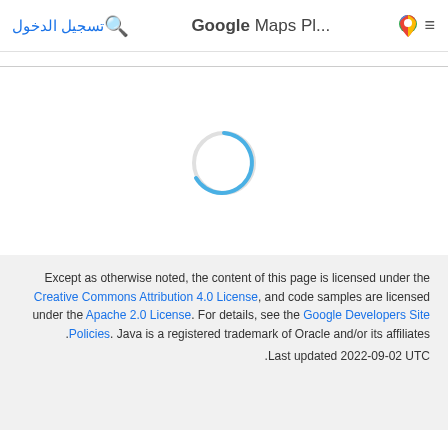تسجيل الدخول  🔍  Google Maps Pl...  🗺️  ≡
[Figure (other): Blue loading spinner (partial circle arc), indicating page content is loading]
Except as otherwise noted, the content of this page is licensed under the Creative Commons Attribution 4.0 License, and code samples are licensed under the Apache 2.0 License. For details, see the Google Developers Site Policies. Java is a registered trademark of Oracle and/or its affiliates.
Last updated 2022-09-02 UTC.
Stack Overflow
GitHub